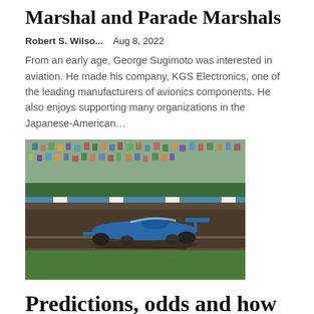Marshal and Parade Marshals
Robert S. Wilso...   Aug 8, 2022
From an early age, George Sugimoto was interested in aviation. He made his company, KGS Electronics, one of the leading manufacturers of avionics components. He also enjoys supporting many organizations in the Japanese-American...
[Figure (photo): A blue IndyCar racing car on a circuit track with spectators visible in the grandstands in the background.]
Predictions, odds and how to watch or live stream this IndyCar Series race in the US